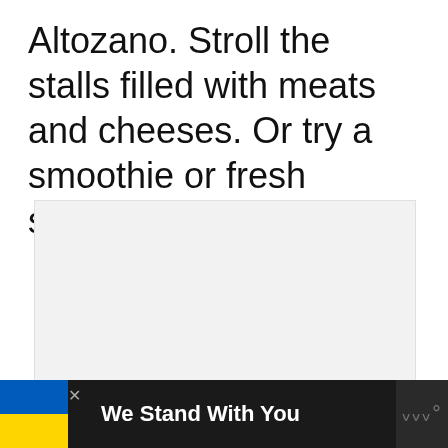Altozano. Stroll the stalls filled with meats and cheeses. Or try a smoothie or fresh squeezed juice.
[Figure (photo): Light gray placeholder image area, approximately rectangular, with navigation dots below it.]
We Stand With You